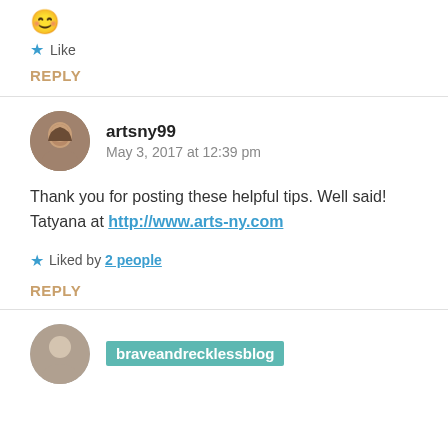[Figure (illustration): Smiley face emoji (😊)]
Like
REPLY
[Figure (photo): Round avatar photo of artsny99 user]
artsny99
May 3, 2017 at 12:39 pm
Thank you for posting these helpful tips. Well said! Tatyana at http://www.arts-ny.com
Liked by 2 people
REPLY
[Figure (photo): Round avatar photo of braveandrecklessblog user]
braveandrecklessblog